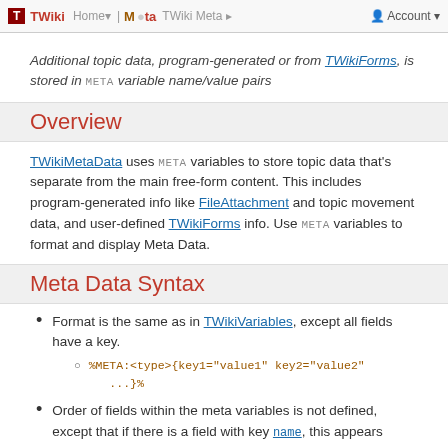TWiki Meta Data — Home | TWiki Meta | Account
Additional topic data, program-generated or from TWikiForms, is stored in META variable name/value pairs
Overview
TWikiMetaData uses META variables to store topic data that's separate from the main free-form content. This includes program-generated info like FileAttachment and topic movement data, and user-defined TWikiForms info. Use META variables to format and display Meta Data.
Meta Data Syntax
Format is the same as in TWikiVariables, except all fields have a key.
%META:<type>{key1="value1" key2="value2" ...}%
Order of fields within the meta variables is not defined, except that if there is a field with key name, this appears